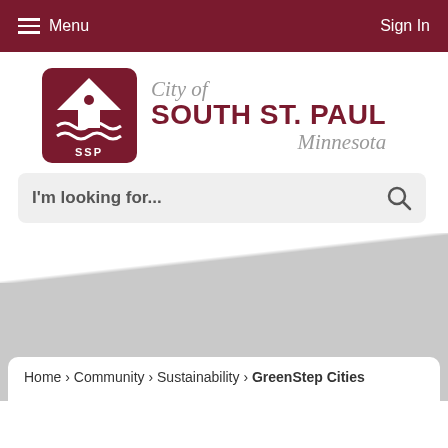Menu   Sign In
[Figure (logo): City of South St. Paul Minnesota logo with SSP emblem showing house/building icon and wave lines in a red square]
City of SOUTH ST. PAUL Minnesota
I'm looking for...
[Figure (photo): Grey hero/banner area placeholder]
Home › Community › Sustainability › GreenStep Cities